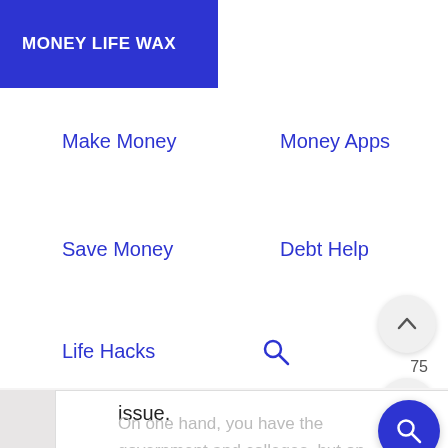MONEY LIFE WAX
Make Money
Money Apps
Save Money
Debt Help
Life Hacks
issue.
On one hand, you have the government and colleges, but on